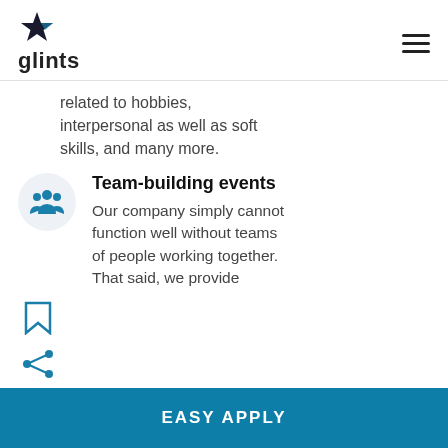glints
related to hobbies, interpersonal as well as soft skills, and many more.
Team-building events
Our company simply cannot function well without teams of people working together. That said, we provide numerous team-building activities and events for you and your team to nurture meaningful relationships
[Figure (illustration): Bookmark icon (save)]
[Figure (illustration): Share icon]
EASY APPLY